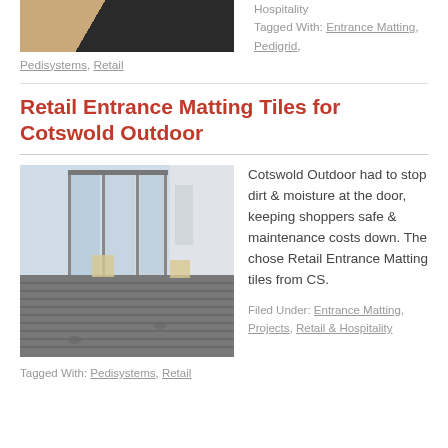[Figure (photo): Partial image of entrance matting, showing dark textured mat and light colored flooring corner]
Hospitality
Tagged With: Entrance Matting, Pedigrid,
Pedisystems, Retail
Retail Entrance Matting Tiles for Cotswold Outdoor
[Figure (photo): Photo of retail store entrance with large glass doors, showing dark grey ribbed entrance matting tiles on the floor with branded footprint logos]
Cotswold Outdoor had to stop dirt & moisture at the door, keeping shoppers safe & maintenance costs down. The chose Retail Entrance Matting tiles from CS.
Filed Under: Entrance Matting, Projects, Retail & Hospitality
Tagged With: Pedisystems, Retail